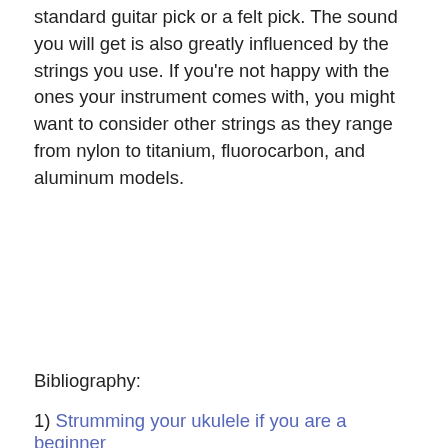standard guitar pick or a felt pick. The sound you will get is also greatly influenced by the strings you use. If you're not happy with the ones your instrument comes with, you might want to consider other strings as they range from nylon to titanium, fluorocarbon, and aluminum models.
Bibliography:
1) Strumming your ukulele if you are a beginner
2) Ukulele – history and construction